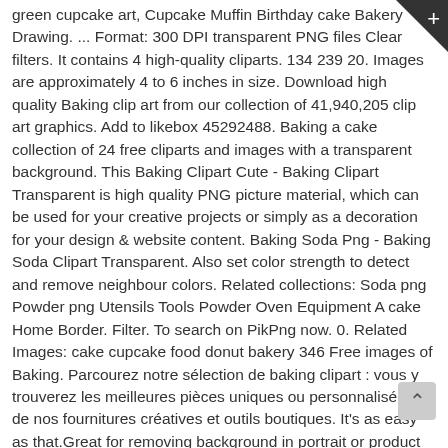green cupcake art, Cupcake Muffin Birthday cake Bakery Drawing. ... Format: 300 DPI transparent PNG files Clear filters. It contains 4 high-quality cliparts. 134 239 20. Images are approximately 4 to 6 inches in size. Download high quality Baking clip art from our collection of 41,940,205 clip art graphics. Add to likebox 45292488. Baking a cake collection of 24 free cliparts and images with a transparent background. This Baking Clipart Cute - Baking Clipart Transparent is high quality PNG picture material, which can be used for your creative projects or simply as a decoration for your design & website content. Baking Soda Png - Baking Soda Clipart Transparent. Also set color strength to detect and remove neighbour colors. Related collections: Soda png Powder png Utensils Tools Powder Oven Equipment A cake Home Border. Filter. To search on PikPng now. 0. Related Images: cake cupcake food donut bakery 346 Free images of Baking. Parcourez notre sélection de baking clipart : vous y trouverez les meilleures pièces uniques ou personnalisées de nos fournitures créatives et outils boutiques. It's as easy as that.Great for removing background in portrait or product photos. Baking png. Picture Free Library Ba' Beans Clipart - Circle. Download Vanilla Baking Clipart With Hd Quality By Augusto for desktop and phones. Girl Cookies Cooking